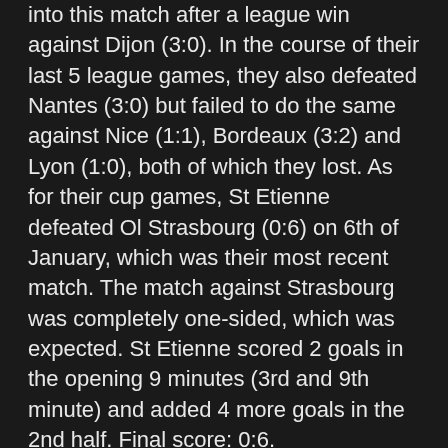into this match after a league win against Dijon (3:0). In the course of their last 5 league games, they also defeated Nantes (3:0) but failed to do the same against Nice (1:1), Bordeaux (3:2) and Lyon (1:0), both of which they lost. As for their cup games, St Etienne defeated Ol Strasbourg (0:6) on 6th of January, which was their most recent match. The match against Strasbourg was completely one-sided, which was expected. St Etienne scored 2 goals in the opening 9 minutes (3rd and 9th minute) and added 4 more goals in the 2nd half. Final score: 0:6.
The last time St Etienne played against Guingamp was on 11th of August 2018 when St Etienne won 2:1. This was their 4th win against Guingamp out of the last 5 times the two sides meet. Looking at the upcoming match, Guingamp is not considered a huge underdog, mostly due to their 4 game winning streak and their win against PSG on 9th of January, however, I am a bit sceptical about how